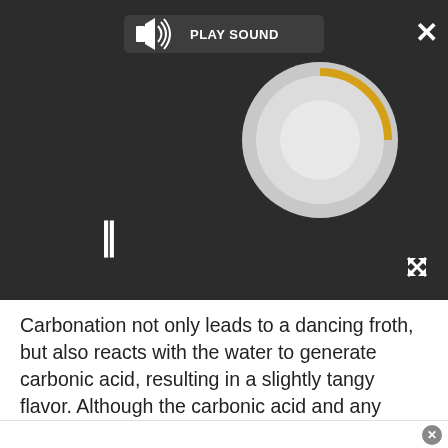[Figure (screenshot): Video/audio player UI with dark background, PLAY SOUND button, loading spinner circle with golden arc, pause button (||), close X button, and expand arrow icon]
Carbonation not only leads to a dancing froth, but also reacts with the water to generate carbonic acid, resulting in a slightly tangy flavor. Although the carbonic acid and any other flavor-enhancing acids that soda-makers add to soft drinks has been linked to tooth damage, "I think the American Dental Association is more concerned about the sugar in soda," Jones said.

When soda is bottled, the soft drinks are kept very cold because carbon dioxide dissolves better in soda